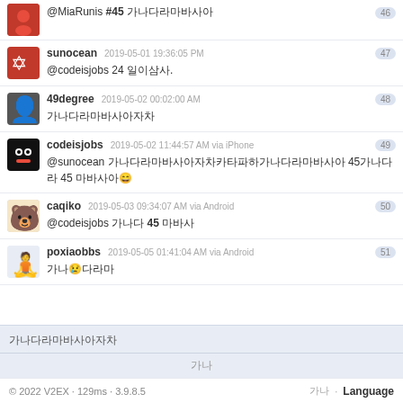@MiaRunis #45 [redacted]
sunocean  2019-05-01 19:36:05 PM  47
@codeisjobs 24 [redacted].
49degree  2019-05-02 00:02:00 AM  48
[redacted]
codeisjobs  2019-05-02 11:44:57 AM via iPhone  49
@sunocean [redacted] 45[redacted] 45 [redacted]
caqiko  2019-05-03 09:34:07 AM via Android  50
@codeisjobs [redacted] 45 [redacted]
poxiaobbs  2019-05-05 01:41:04 AM via Android  51
[redacted]
[redacted]
[redacted]
© 2022 V2EX · 129ms · 3.9.8.5    [redacted] · Language